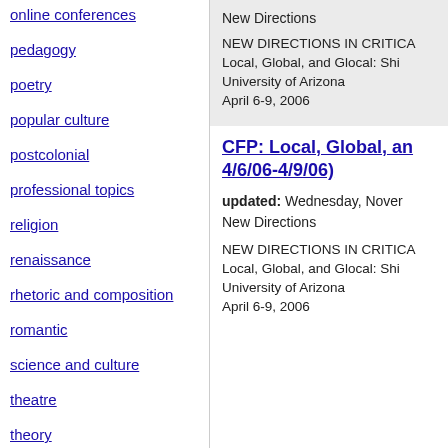online conferences
pedagogy
poetry
popular culture
postcolonial
professional topics
religion
renaissance
rhetoric and composition
romantic
science and culture
theatre
theory
translation studies
New Directions
NEW DIRECTIONS IN CRITICA
Local, Global, and Glocal: Shi
University of Arizona
April 6-9, 2006
CFP: Local, Global, and... 4/6/06-4/9/06)
updated: Wednesday, Nover
New Directions
NEW DIRECTIONS IN CRITICA
Local, Global, and Glocal: Shi
University of Arizona
April 6-9, 2006